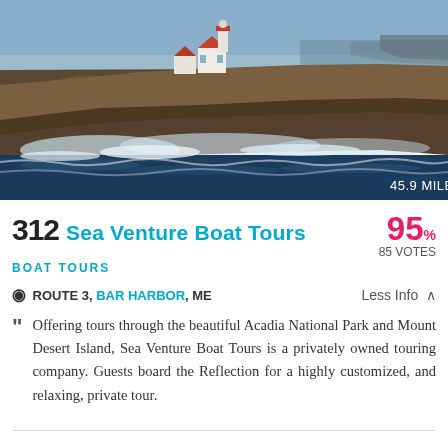[Figure (photo): Coastal scene with rocky shoreline, ocean waves crashing over rocks, and a white lighthouse/house with red roof on the rocky cliff in the background. Dark blue ocean water in foreground.]
312 Sea Venture Boat Tours 95% 85 VOTES
BOAT TOURS
ROUTE 3, BAR HARBOR, ME
45.9 MILES
Less Info
Offering tours through the beautiful Acadia National Park and Mount Desert Island, Sea Venture Boat Tours is a privately owned touring company. Guests board the Reflection for a highly customized, and relaxing, private tour.